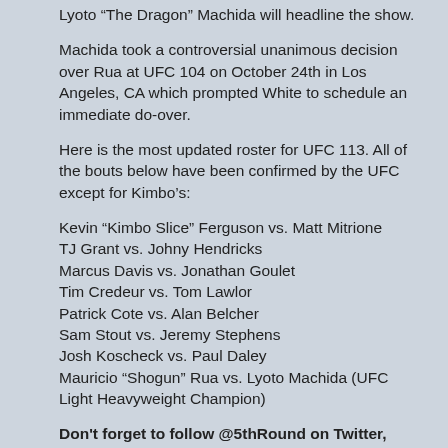Lyoto “The Dragon” Machida will headline the show.
Machida took a controversial unanimous decision over Rua at UFC 104 on October 24th in Los Angeles, CA which prompted White to schedule an immediate do-over.
Here is the most updated roster for UFC 113. All of the bouts below have been confirmed by the UFC except for Kimbo’s:
Kevin “Kimbo Slice” Ferguson vs. Matt Mitrione
TJ Grant vs. Johny Hendricks
Marcus Davis vs. Jonathan Goulet
Tim Credeur vs. Tom Lawlor
Patrick Cote vs. Alan Belcher
Sam Stout vs. Jeremy Stephens
Josh Koscheck vs. Paul Daley
Mauricio “Shogun” Rua vs. Lyoto Machida (UFC Light Heavyweight Champion)
Don't forget to follow @5thRound on Twitter, Facebook and Google+!